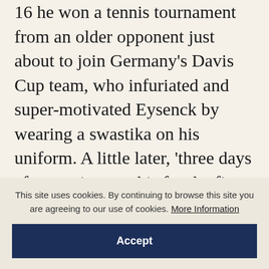16 he won a tennis tournament from an older opponent just about to join Germany's Davis Cup team, who infuriated and super-motivated Eysenck by wearing a swastika on his uniform. A little later, 'three days after putting on skis for the first time I won a race.' He and a friend regularly played in bridge tournaments against elderly women who used the Culbertson bidding system: 'We devised a system of anti-Culbertson, making our bids in such a way as to confuse the opposition completely. This paid off, and we nearly always
This site uses cookies. By continuing to browse this site you are agreeing to our use of cookies. More Information
Accept